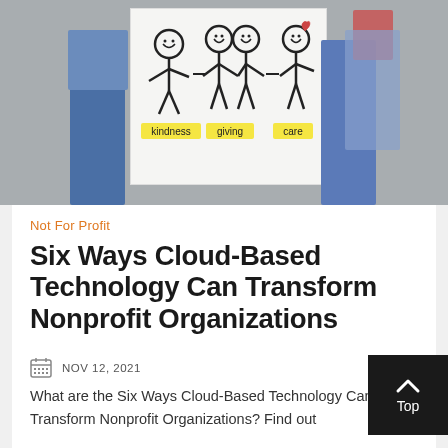[Figure (photo): People holding a sign with stick figures labeled 'kindness', 'giving', 'care']
Not For Profit
Six Ways Cloud-Based Technology Can Transform Nonprofit Organizations
NOV 12, 2021
What are the Six Ways Cloud-Based Technology Can Transform Nonprofit Organizations? Find out